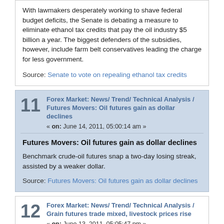With lawmakers desperately working to shave federal budget deficits, the Senate is debating a measure to eliminate ethanol tax credits that pay the oil industry $5 billion a year. The biggest defenders of the subsidies, however, include farm belt conservatives leading the charge for less government.
Source: Senate to vote on repealing ethanol tax credits
11  Forex Market: News/ Trend/ Technical Analysis / Futures Movers: Oil futures gain as dollar declines
« on: June 14, 2011, 05:00:14 am »
Futures Movers: Oil futures gain as dollar declines
Benchmark crude-oil futures snap a two-day losing streak, assisted by a weaker dollar.
Source: Futures Movers: Oil futures gain as dollar declines
12  Forex Market: News/ Trend/ Technical Analysis / Grain futures trade mixed, livestock prices rise
« on: June 13, 2011, 05:05:47 pm »
Grain futures trade mixed, livestock prices rise